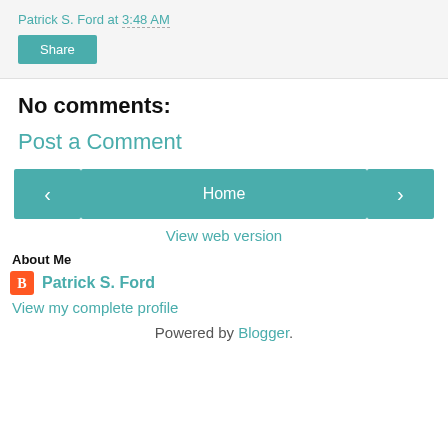Patrick S. Ford at 3:48 AM
Share
No comments:
Post a Comment
‹
Home
›
View web version
About Me
Patrick S. Ford
View my complete profile
Powered by Blogger.